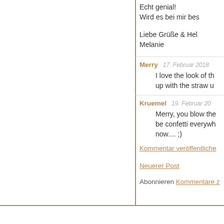Echt genial!
Wird es bei mir bes
Liebe Grüße & Hel
Melanie
Merry   17. Februar 2018
    I love the look of th
    up with the straw u
Kruemel   19. Februar 20
    Merry, you blow the
    be confetti everywh
    now.... ;)
Kommentar veröffentliche
Neuerer Post
Abonnieren Kommentare z